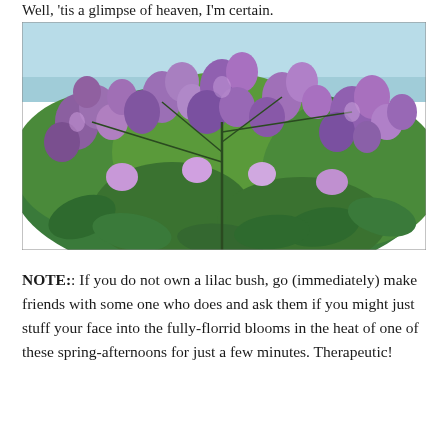Well, 'tis a glimpse of heaven, I'm certain.
[Figure (photo): A lilac bush in full bloom with clusters of purple flowers and large green leaves against a light blue sky background.]
NOTE:: If you do not own a lilac bush, go (immediately) make friends with some one who does and ask them if you might just stuff your face into the fully-florrid blooms in the heat of one of these spring-afternoons for just a few minutes. Therapeutic!